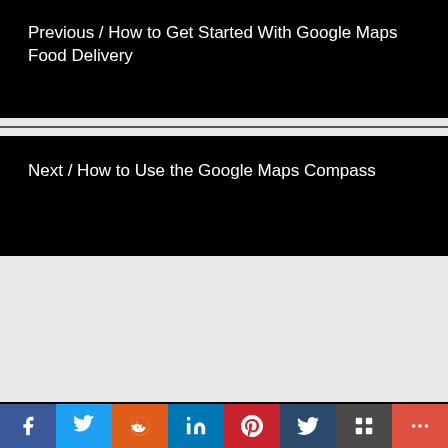Previous / How to Get Started With Google Maps Food Delivery
Next / How to Use the Google Maps Compass
Copyright © 2022
Home  All Categories  GIS & Sensing  Sustainability